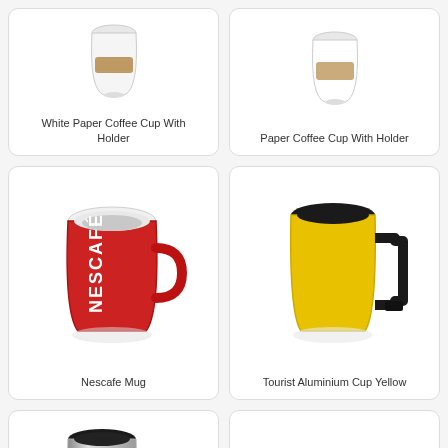[Figure (photo): 3D render of a white paper coffee cup with a brown cardboard sleeve/holder]
White Paper Coffee Cup With Holder
[Figure (photo): 3D render of a white paper coffee cup with a cardboard holder]
Paper Coffee Cup With Holder
[Figure (photo): 3D render of a red Nescafe ceramic coffee mug with white Nescafé branding]
Nescafe Mug
[Figure (photo): 3D render of a yellow aluminium tourist cup with a black angular handle]
Tourist Aluminium Cup Yellow
[Figure (photo): 3D render of a tall silver/stainless steel travel mug with a black handle]
[Figure (photo): 3D render of a set of stainless steel cups/shot glasses grouped together]